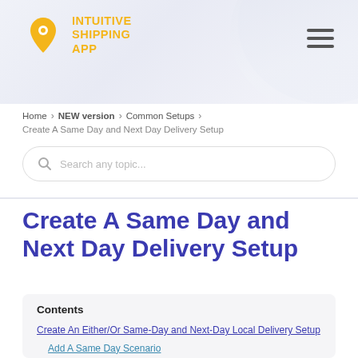[Figure (logo): Intuitive Shipping App logo with yellow location pin icon and yellow bold text reading INTUITIVE SHIPPING APP]
Home > NEW version > Common Setups >
Create A Same Day and Next Day Delivery Setup
Search any topic...
Create A Same Day and Next Day Delivery Setup
Contents
Create An Either/Or Same-Day and Next-Day Local Delivery Setup
Add A Same Day Scenario